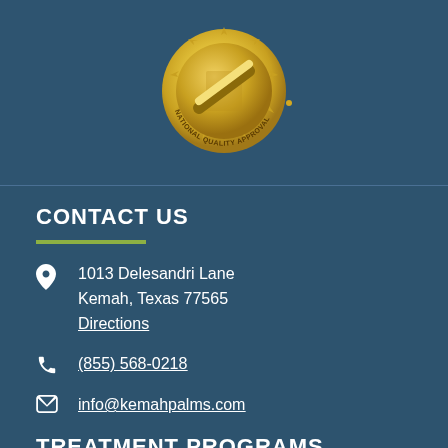[Figure (logo): Gold National Quality Approval medal/seal with checkmark design]
CONTACT US
1013 Delesandri Lane
Kemah, Texas 77565
Directions
(855) 568-0218
info@kemahpalms.com
TREATMENT PROGRAMS